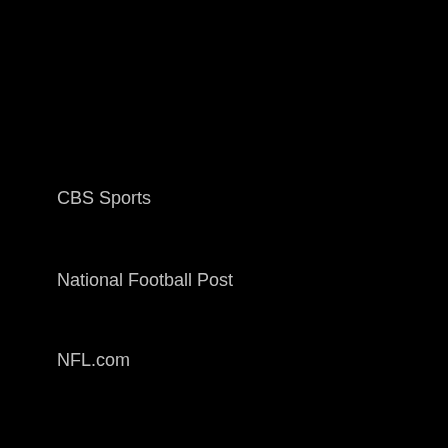CBS Sports
National Football Post
NFL.com